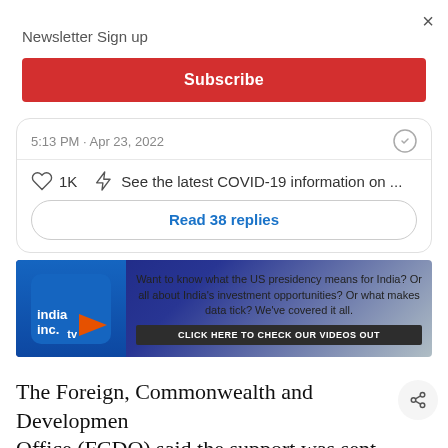Newsletter Sign up
×
Subscribe
5:13 PM · Apr 23, 2022
1K   See the latest COVID-19 information on ...
Read 38 replies
[Figure (screenshot): India Inc TV advertisement banner. Text: Want to know what the US presidency means for India? Or all about India's investment opportunities? Or what makes data tick? We've covered it all. CLICK HERE TO CHECK OUR VIDEOS OUT]
The Foreign, Commonwealth and Development Office (FCDO) said the support was sent in